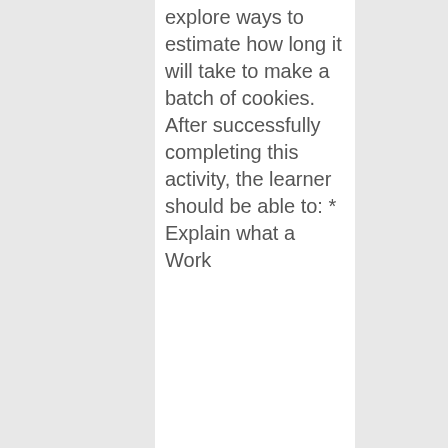explore ways to estimate how long it will take to make a batch of cookies. After successfully completing this activity, the learner should be able to: * Explain what a Work